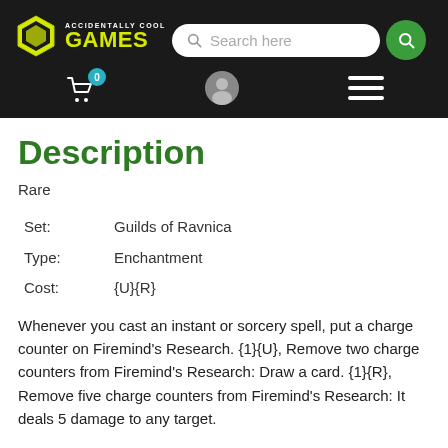Accidentally Cool Games — Search here — Cart 0 — User — Menu
Description
Rare
| Field | Value |
| --- | --- |
| Set: | Guilds of Ravnica |
| Type: | Enchantment |
| Cost: | {U}{R} |
Whenever you cast an instant or sorcery spell, put a charge counter on Firemind's Research. {1}{U}, Remove two charge counters from Firemind's Research: Draw a card. {1}{R}, Remove five charge counters from Firemind's Research: It deals 5 damage to any target.